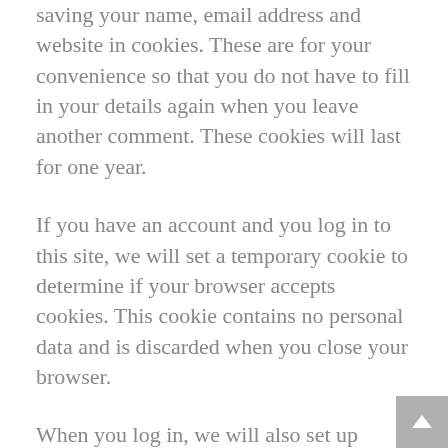saving your name, email address and website in cookies. These are for your convenience so that you do not have to fill in your details again when you leave another comment. These cookies will last for one year.
If you have an account and you log in to this site, we will set a temporary cookie to determine if your browser accepts cookies. This cookie contains no personal data and is discarded when you close your browser.
When you log in, we will also set up several cookies to save your login information and your screen display choices. Login cookies last for two days, and screen options cookies last for a year. If you select “Remember Me”, your login will persist for two